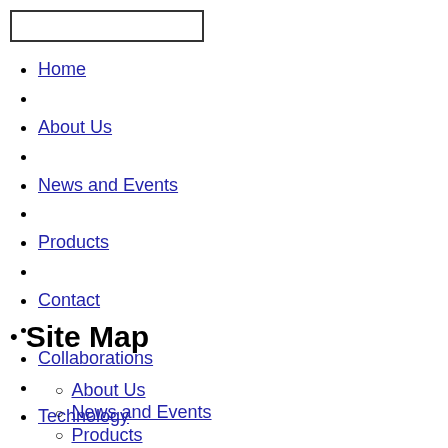[search box]
Home
About Us
News and Events
Products
Contact
Collaborations
Technology
Site Map
About Us
News and Events
Products
Contact
Collaborations
Technology